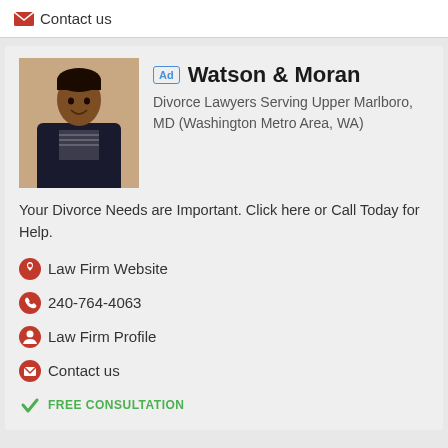Contact us
Watson & Moran
Divorce Lawyers Serving Upper Marlboro, MD (Washington Metro Area, WA)
Your Divorce Needs are Important. Click here or Call Today for Help.
Law Firm Website
240-764-4063
Law Firm Profile
Contact us
FREE CONSULTATION